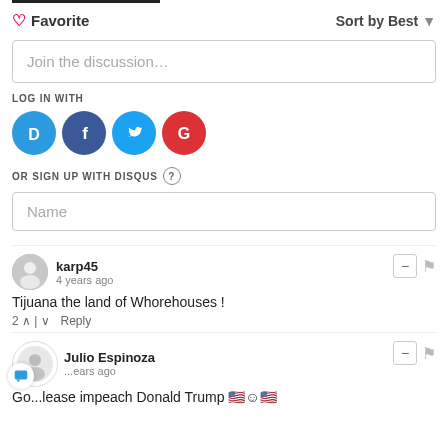♡ Favorite
Sort by Best ▼
Join the discussion...
LOG IN WITH
[Figure (logo): Social login icons: Disqus (blue D), Facebook (dark blue f), Twitter (light blue bird), Google (red G)]
OR SIGN UP WITH DISQUS ?
Name
karp45
4 years ago
Tijuana the land of Whorehouses !
2 ∧ | ∨  Reply
Julio Espinoza
...ears ago
Go...lease impeach Donald Trump 🇺🇸😊🇺🇸